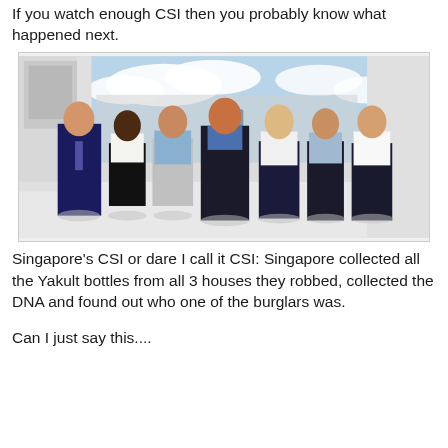If you watch enough CSI then you probably know what happened next.
[Figure (photo): Promotional photo of the cast of CSI: Miami — seven cast members standing in a bright white outdoor setting with blue sky background. Cast includes men and women in professional/casual attire.]
Singapore's CSI or dare I call it CSI: Singapore collected all the Yakult bottles from all 3 houses they robbed, collected the DNA and found out who one of the burglars was.
Can I just say this....